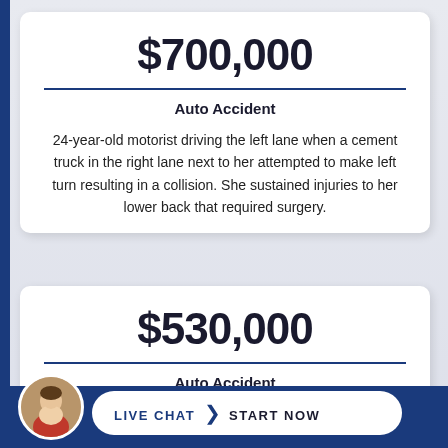$700,000
Auto Accident
24-year-old motorist driving the left lane when a cement truck in the right lane next to her attempted to make left turn resulting in a collision. She sustained injuries to her lower back that required surgery.
$530,000
Auto Accident
LIVE CHAT  START NOW